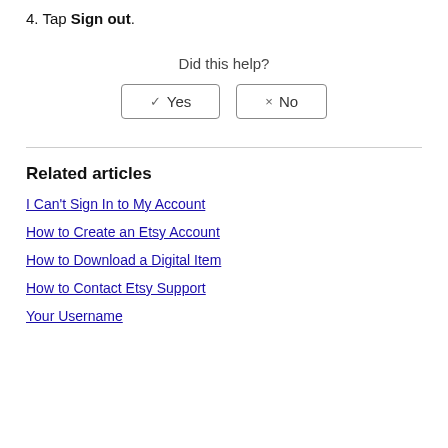4. Tap Sign out.
Did this help?
✓ Yes   × No
Related articles
I Can't Sign In to My Account
How to Create an Etsy Account
How to Download a Digital Item
How to Contact Etsy Support
Your Username